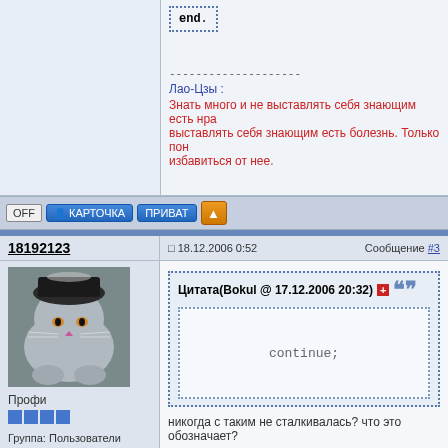end.
--------------------
Лао-Цзы :
Знать много и не выставлять себя знающим есть нра... выставлять себя знающим есть болезнь. Только пон... избавиться от нее.
OFF  КАРТОЧКА  ПРИВАТ  ↑
18192123
18.12.2006 0:52   Сообщение #3
[Figure (photo): Avatar of a cat wearing a hat]
Профи
Группа: Пользователи
Сообщений: 920
Пол: Женский
Реальное имя: Марина
Цитата(Bokul @ 17.12.2006 20:32)
continue;
никогда с таким не сталкивалась? что это обозначает?